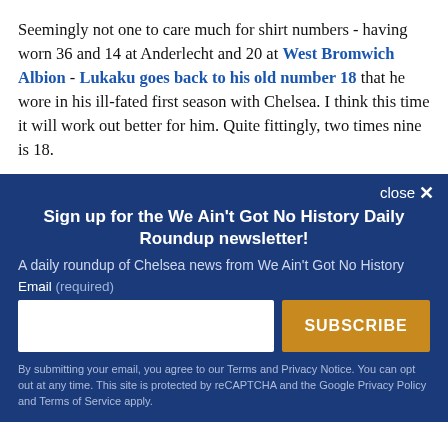Seemingly not one to care much for shirt numbers - having worn 36 and 14 at Anderlecht and 20 at West Bromwich Albion - Lukaku goes back to his old number 18 that he wore in his ill-fated first season with Chelsea. I think this time it will work out better for him. Quite fittingly, two times nine is 18.
Sign up for the We Ain't Got No History Daily Roundup newsletter!
A daily roundup of Chelsea news from We Ain't Got No History
Email (required)
SUBSCRIBE
By submitting your email, you agree to our Terms and Privacy Notice. You can opt out at any time. This site is protected by reCAPTCHA and the Google Privacy Policy and Terms of Service apply.